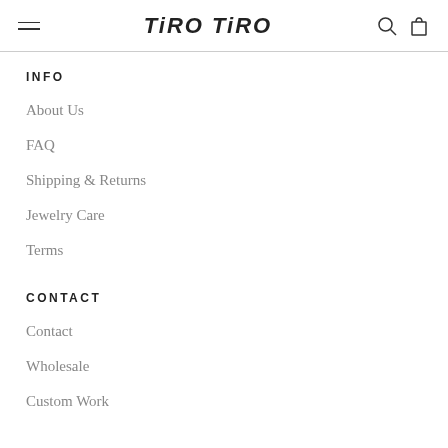TIRO TIRO
INFO
About Us
FAQ
Shipping & Returns
Jewelry Care
Terms
CONTACT
Contact
Wholesale
Custom Work